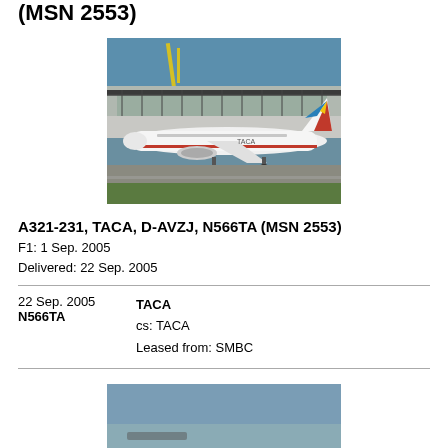(MSN 2553)
[Figure (photo): TACA Airbus A321-231 with registration D-AVZJ / N566TA on airport tarmac with terminal buildings in background]
A321-231, TACA, D-AVZJ, N566TA (MSN 2553)
F1: 1 Sep. 2005
Delivered: 22 Sep. 2005
| Date | Operator | Details |
| --- | --- | --- |
| 22 Sep. 2005 | TACA | cs: TACA
Leased from: SMBC |
| N566TA |  |  |
[Figure (photo): Partial photo of aircraft, cropped at bottom of page]